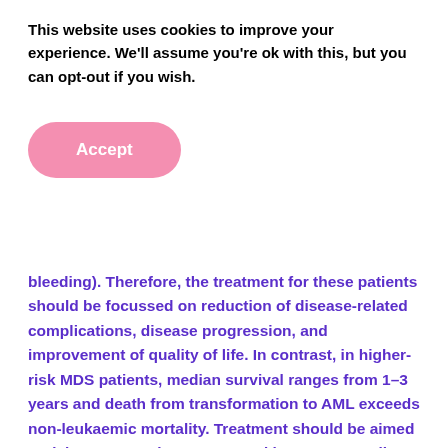This website uses cookies to improve your experience. We'll assume you're ok with this, but you can opt-out if you wish.
Accept
bleeding). Therefore, the treatment for these patients should be focussed on reduction of disease-related complications, disease progression, and improvement of quality of life. In contrast, in higher-risk MDS patients, median survival ranges from 1–3 years and death from transformation to AML exceeds non-leukaemic mortality. Treatment should be aimed to delay progression to AML and improve overall survival. Allogeneic haematopoietic stem cell transplant remains the only curative option for higher-risk MDS patients. However, only a minority of patients are eligible for intensive treatment. Consequently, most patients are managed with supportive care and palliative treatment, including growth factor, erythropoiesis-stimulating agents,